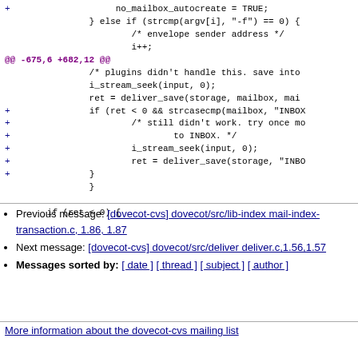Code diff showing changes including no_mailbox_autocreate = TRUE; } else if (strcmp(argv[i], "-f") == 0 { /* envelope sender address */ i++; @@ -675,6 +682,12 @@ /* plugins didn't handle this. save into i_stream_seek(input, 0); ret = deliver_save(storage, mailbox, mai + if (ret < 0 && strcasecmp(mailbox, "INBOX + /* still didn't work. try once mo + to INBOX. */ + i_stream_seek(input, 0); + ret = deliver_save(storage, "INBO + } } if (ret < 0) {
Previous message: [dovecot-cvs] dovecot/src/lib-index mail-index-transaction.c, 1.86, 1.87
Next message: [dovecot-cvs] dovecot/src/deliver deliver.c,1.56,1.57
Messages sorted by: [ date ] [ thread ] [ subject ] [ author ]
More information about the dovecot-cvs mailing list